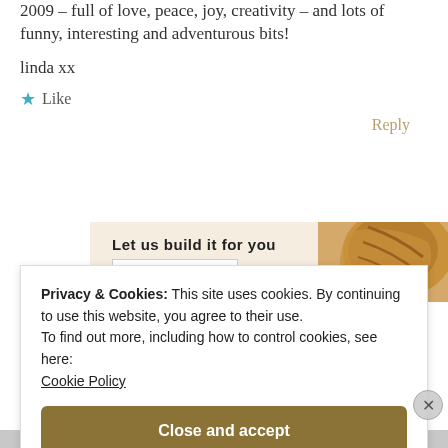2009 – full of love, peace, joy, creativity – and lots of funny, interesting and adventurous bits!
linda xx
★ Like
Reply
[Figure (screenshot): Advertisement banner: 'Let us build it for you' with a 'Let's get started' button and a croissant image on the right]
Privacy & Cookies: This site uses cookies. By continuing to use this website, you agree to their use.
To find out more, including how to control cookies, see here: Cookie Policy
Close and accept